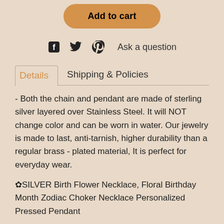Add to cart
Ask a question
Details
Shipping & Policies
- Both the chain and pendant are made of sterling silver layered over Stainless Steel. It will NOT change color and can be worn in water. Our jewelry is made to last, anti-tarnish, higher durability than a regular brass - plated material, It is perfect for everyday wear.
✿SILVER Birth Flower Necklace, Floral Birthday Month Zodiac Choker Necklace Personalized Pressed Pendant